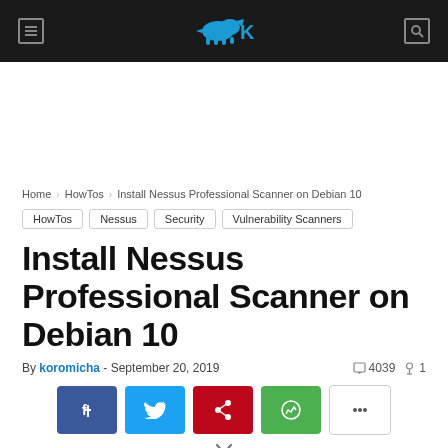Site header with logo and navigation icons
Home › HowTos › Install Nessus Professional Scanner on Debian 10
HowTos
Nessus
Security
Vulnerability Scanners
Install Nessus Professional Scanner on Debian 10
By koromicha - September 20, 2019  4039  1
[Figure (other): Social sharing buttons: Facebook, Twitter, Pinterest, WhatsApp, and more options]